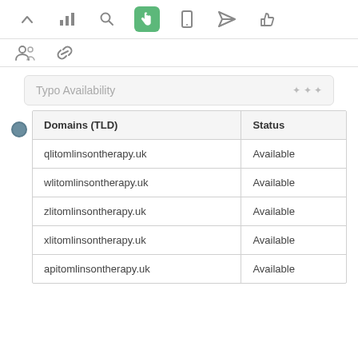[Figure (screenshot): Top navigation toolbar with icons: chevron-up, bar chart, search, hand/cursor (active, green background), mobile, paper plane, thumbs up]
[Figure (screenshot): Second toolbar row with icons: group/people, link/chain]
Typo Availability
| Domains (TLD) | Status |
| --- | --- |
| qlitomlinsontherapy.uk | Available |
| wlitomlinsontherapy.uk | Available |
| zlitomlinsontherapy.uk | Available |
| xlitomlinsontherapy.uk | Available |
| apitomlinsontherapy.uk | Available |